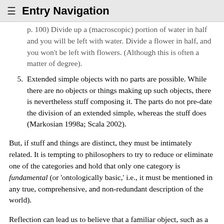≡ Entry Navigation
p. 100) Divide up a (macroscopic) portion of water in half and you will be left with water. Divide a flower in half, and you won't be left with flowers. (Although this is often a matter of degree).
5. Extended simple objects with no parts are possible. While there are no objects or things making up such objects, there is nevertheless stuff composing it. The parts do not pre-date the division of an extended simple, whereas the stuff does (Markosian 1998a; Scala 2002).
But, if stuff and things are distinct, they must be intimately related. It is tempting to philosophers to try to reduce or eliminate one of the categories and hold that only one category is fundamental (or 'ontologically basic,' i.e., it must be mentioned in any true, comprehensive, and non-redundant description of the world).
Reflection can lead us to believe that a familiar object, such as a tree, is nothing more than some stuff in a certain